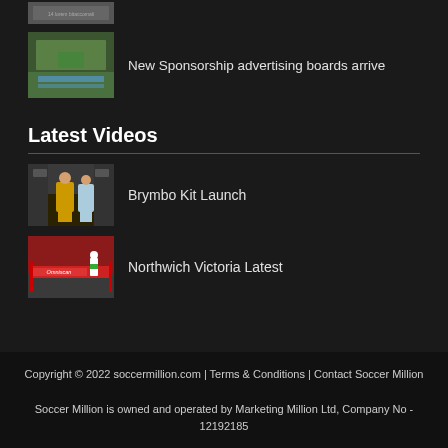[Figure (photo): Small thumbnail of a soccer field or player at top, partially cropped]
New Sponsorship advertising boards arrive
[Figure (photo): Thumbnail of a soccer field with advertising boards]
Latest Videos
[Figure (photo): Thumbnail for Brymbo Kit Launch video showing players in yellow and blue kits]
Brymbo Kit Launch
[Figure (photo): Thumbnail for Northwich Victoria Latest video showing red stadium with player]
Northwich Victoria Latest
Copyright © 2022 soccermillion.com | Terms & Conditions | Contact Soccer Million
Soccer Million is owned and operated by Marketing Million Ltd, Company No - 12192185